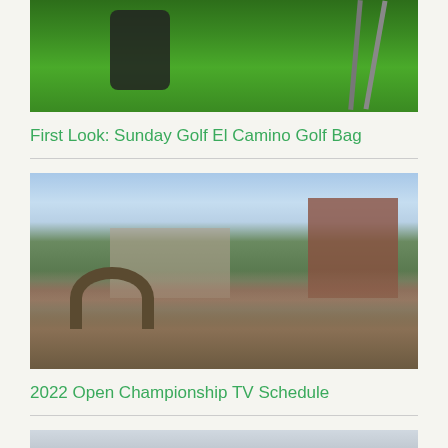[Figure (photo): Golf bag and clubs on green grass, viewed from above]
First Look: Sunday Golf El Camino Golf Bag
[Figure (photo): St Andrews golf course with the famous Swilcan Bridge in foreground and historic hotel buildings in background]
2022 Open Championship TV Schedule
[Figure (photo): Partial image of golf equipment, cropped at bottom of page]